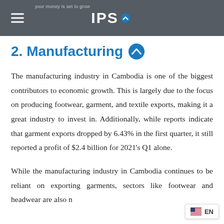IPS · your money is set to grow
2. Manufacturing
The manufacturing industry in Cambodia is one of the biggest contributors to economic growth. This is largely due to the focus on producing footwear, garment, and textile exports, making it a great industry to invest in. Additionally, while reports indicate that garment exports dropped by 6.43% in the first quarter, it still reported a profit of $2.4 billion for 2021's Q1 alone.
While the manufacturing industry in Cambodia continues to be reliant on exporting garments, sectors like footwear and headwear are also n…